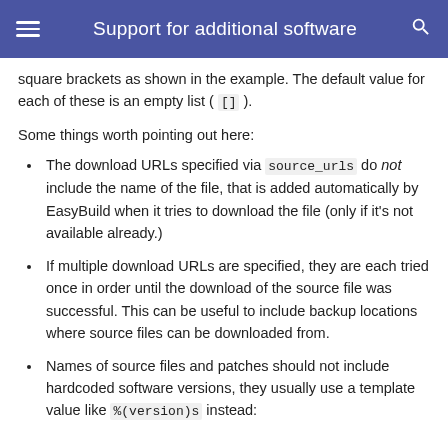Support for additional software
square brackets as shown in the example. The default value for each of these is an empty list ( [] ).
Some things worth pointing out here:
The download URLs specified via source_urls do not include the name of the file, that is added automatically by EasyBuild when it tries to download the file (only if it's not available already.)
If multiple download URLs are specified, they are each tried once in order until the download of the source file was successful. This can be useful to include backup locations where source files can be downloaded from.
Names of source files and patches should not include hardcoded software versions, they usually use a template value like %(version)s instead: